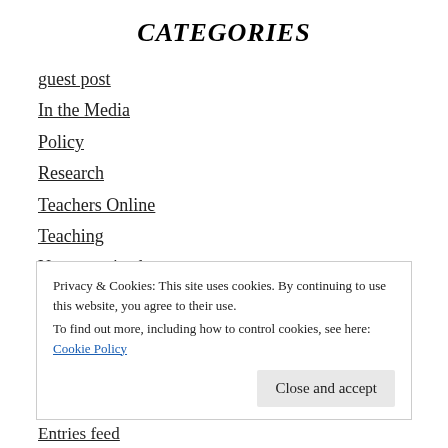CATEGORIES
guest post
In the Media
Policy
Research
Teachers Online
Teaching
Uncategorized
Privacy & Cookies: This site uses cookies. By continuing to use this website, you agree to their use.
To find out more, including how to control cookies, see here: Cookie Policy
Entries feed